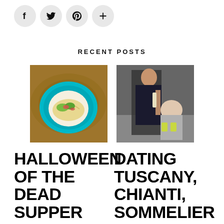[Figure (other): Social media share icons: Facebook, Twitter, Pinterest, and a plus/add button, each in a light gray circle]
RECENT POSTS
[Figure (photo): Food photo: a taco or crepe on a bright blue plate on a wooden surface, with vegetables and garnishes]
[Figure (photo): Wine/dining photo: a woman in a dark sleeveless top pouring or serving wine to an older seated man outdoors]
HALLOWEEN DAY OF THE DEAD SUPPER CLUB OCTOBER
DATING TUSCANY, CHIANTI, SOMMELIER EMILY O'HARE AND